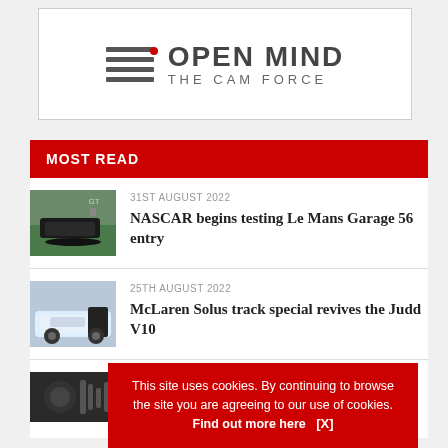[Figure (logo): Open Mind – The Cam Force logo with horizontal lines and red dot]
MOST READ
31ST AUGUST 2022 — NASCAR begins testing Le Mans Garage 56 entry
25TH AUGUST 2022 — McLaren Solus track special revives the Judd V10
(partial third article)
This site uses cookies. By continuing to browse the site you are agreeing to our use of cookies. Find out more here [X]